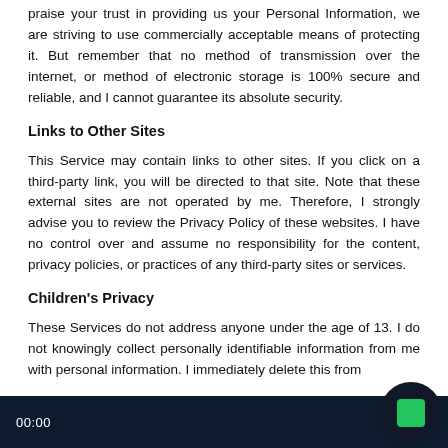praise your trust in providing us your Personal Information, we are striving to use commercially acceptable means of protecting it. But remember that no method of transmission over the internet, or method of electronic storage is 100% secure and reliable, and I cannot guarantee its absolute security.
Links to Other Sites
This Service may contain links to other sites. If you click on a third-party link, you will be directed to that site. Note that these external sites are not operated by me. Therefore, I strongly advise you to review the Privacy Policy of these websites. I have no control over and assume no responsibility for the content, privacy policies, or practices of any third-party sites or services.
Children's Privacy
These Services do not address anyone under the age of 13. I do not knowingly collect personally identifiable information from me with personal information. I immediately delete this from